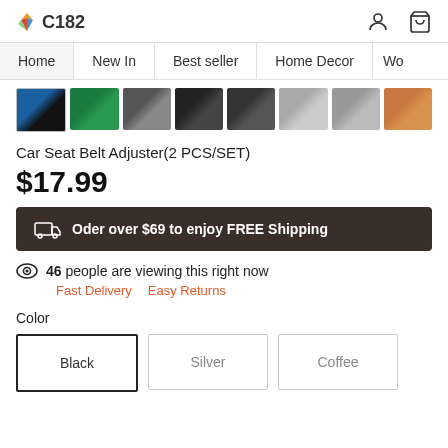C182
Home | New In | Best seller | Home Decor | Wo...
[Figure (photo): Row of product thumbnail images for car seat belt adjuster in various colors]
Car Seat Belt Adjuster(2 PCS/SET)
$17.99
Oder over $69 to enjoy FREE Shipping
46 people are viewing this right now
Fast Delivery  Easy Returns
Color
Black  Silver  Coffee